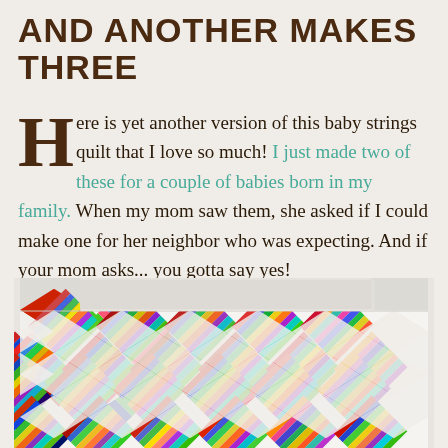AND ANOTHER MAKES THREE
Here is yet another version of this baby strings quilt that I love so much! I just made two of these for a couple of babies born in my family. When my mom saw them, she asked if I could make one for her neighbor who was expecting. And if your mom asks... you gotta say yes!
[Figure (photo): A colorful patchwork baby quilt with diagonal string-pieced blocks in bright multicolored fabrics set against white sashing, laid flat on a surface.]